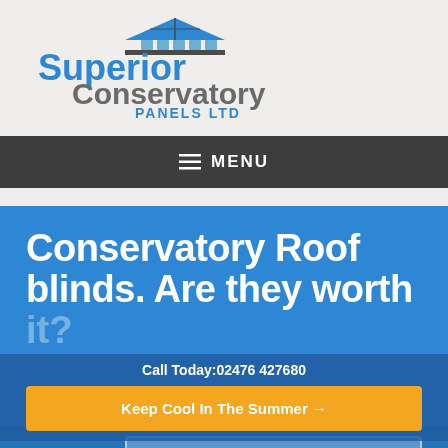[Figure (logo): Superior Conservatory Panels Ltd logo with blue text and conservatory roof icon]
≡ MENU
Conservatory Roof blinds. Are they worth it?
Call Today:02476 427680
Keep Cool In The Summer →
12 January 2022
Request A Free Quote →